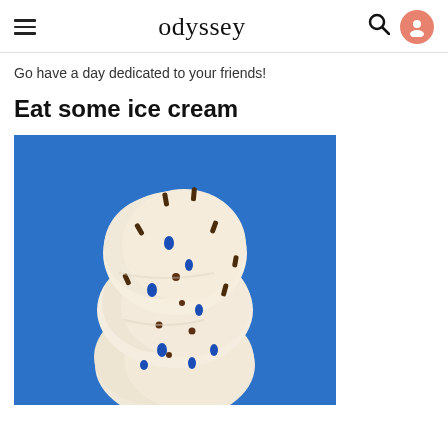odyssey
Go have a day dedicated to your friends!
Eat some ice cream
[Figure (photo): Stack of vanilla ice cream scoops with chocolate sprinkles and blue candy pieces on a blue background]